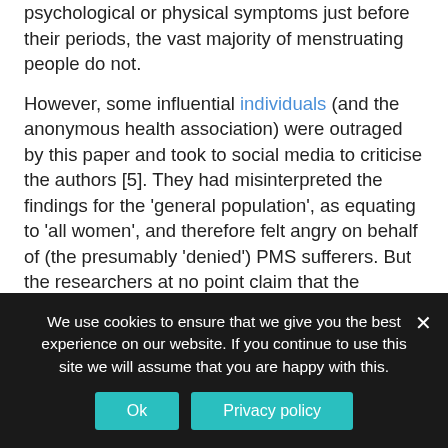psychological or physical symptoms just before their periods, the vast majority of menstruating people do not.
However, some influential individuals (and the anonymous health association) were outraged by this paper and took to social media to criticise the authors [5]. They had misinterpreted the findings for the 'general population', as equating to 'all women', and therefore felt angry on behalf of (the presumably 'denied') PMS sufferers. But the researchers at no point claim that the findings are applicable to all menstruating people. In fact, they clearly state that their findings relate to the general menstruating population only, and therefore cannot, and do not, make any claims about the minority of...
We use cookies to ensure that we give you the best experience on our website. If you continue to use this site we will assume that you are happy with this.